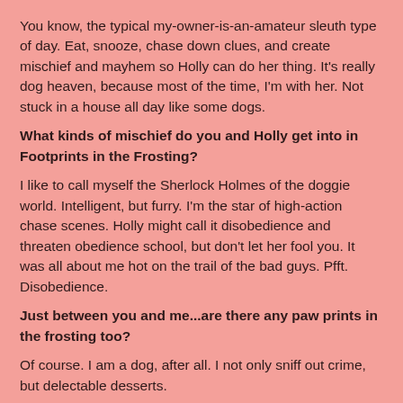You know, the typical my-owner-is-an-amateur sleuth type of day. Eat, snooze, chase down clues, and create mischief and mayhem so Holly can do her thing. It's really dog heaven, because most of the time, I'm with her. Not stuck in a house all day like some dogs.
What kinds of mischief do you and Holly get into in Footprints in the Frosting?
I like to call myself the Sherlock Holmes of the doggie world. Intelligent, but furry. I'm the star of high-action chase scenes. Holly might call it disobedience and threaten obedience school, but don't let her fool you. It was all about me hot on the trail of the bad guys. Pfft. Disobedience.
Just between you and me...are there any paw prints in the frosting too?
Of course. I am a dog, after all. I not only sniff out crime, but delectable desserts.